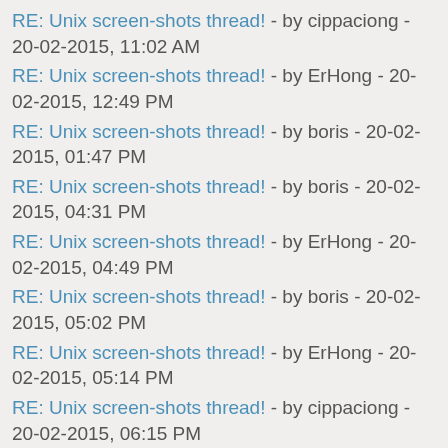RE: Unix screen-shots thread! - by cippaciong - 20-02-2015, 11:02 AM
RE: Unix screen-shots thread! - by ErHong - 20-02-2015, 12:49 PM
RE: Unix screen-shots thread! - by boris - 20-02-2015, 01:47 PM
RE: Unix screen-shots thread! - by boris - 20-02-2015, 04:31 PM
RE: Unix screen-shots thread! - by ErHong - 20-02-2015, 04:49 PM
RE: Unix screen-shots thread! - by boris - 20-02-2015, 05:02 PM
RE: Unix screen-shots thread! - by ErHong - 20-02-2015, 05:14 PM
RE: Unix screen-shots thread! - by cippaciong - 20-02-2015, 06:15 PM
RE: Unix screen-shots thread! - by Dr Chroot - 21-02-2015, 04:30 PM
RE: Unix screen-shots thread! - by banana - 22-02-2015, 12:59 PM
RE: Unix screen-shots thread! - by nounoursheureux - 22-02-